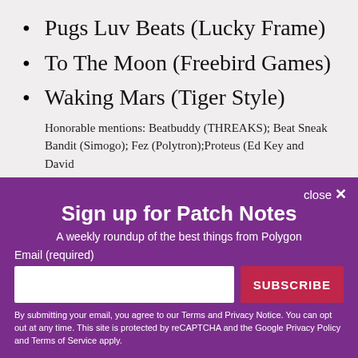Pugs Luv Beats (Lucky Frame)
To The Moon (Freebird Games)
Waking Mars (Tiger Style)
Honorable mentions: Beatbuddy (THREAKS); Beat Sneak Bandit (Simogo); Fez (Polytron);Proteus (Ed Key and David
close ✕
Sign up for Patch Notes
A weekly roundup of the best things from Polygon
Email (required)
SUBSCRIBE
By submitting your email, you agree to our Terms and Privacy Notice. You can opt out at any time. This site is protected by reCAPTCHA and the Google Privacy Policy and Terms of Service apply.